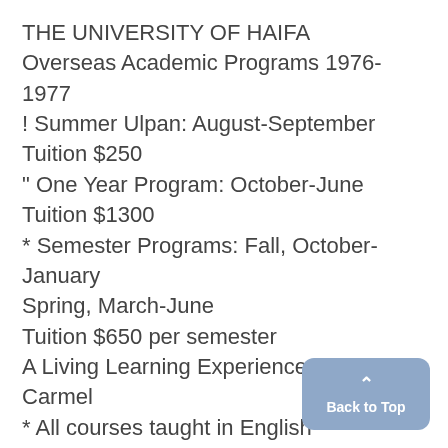THE UNIVERSITY OF HAIFA
Overseas Academic Programs 1976-1977
! Summer Ulpan: August-September
Tuition $250
" One Year Program: October-June
Tuition $1300
* Semester Programs: Fall, October-January
Spring, March-June
Tuition $650 per semester
A Living Learning Experience Atop Mount Carmel
* All courses taught in English
*@16 credits per semester!
Dormitory space available